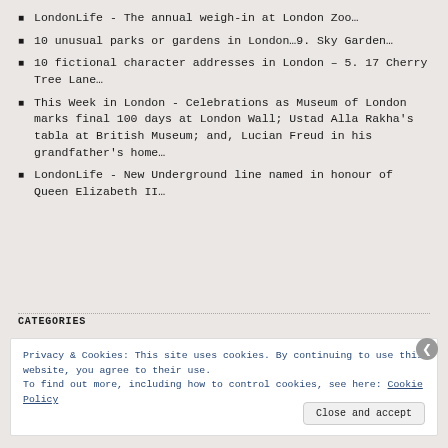LondonLife - The annual weigh-in at London Zoo…
10 unusual parks or gardens in London…9. Sky Garden…
10 fictional character addresses in London – 5. 17 Cherry Tree Lane…
This Week in London - Celebrations as Museum of London marks final 100 days at London Wall; Ustad Alla Rakha's tabla at British Museum; and, Lucian Freud in his grandfather's home…
LondonLife - New Underground line named in honour of Queen Elizabeth II…
CATEGORIES
Privacy & Cookies: This site uses cookies. By continuing to use this website, you agree to their use.
To find out more, including how to control cookies, see here: Cookie Policy
Close and accept